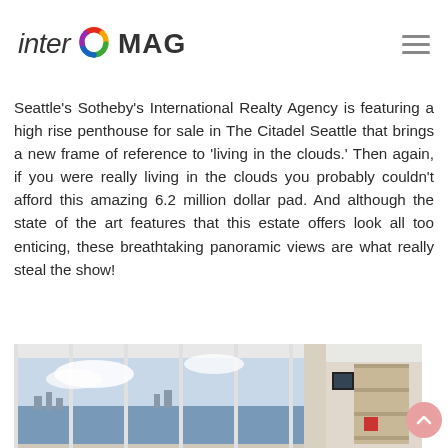inter MAG
Seattle's Sotheby's International Realty Agency is featuring a high rise penthouse for sale in The Citadel Seattle that brings a new frame of reference to 'living in the clouds.' Then again, if you were really living in the clouds you probably couldn't afford this amazing 6.2 million dollar pad. And although the state of the art features that this estate offers look all too enticing, these breathtaking panoramic views are what really steal the show!
[Figure (photo): Interior photo of a high-rise penthouse with floor-to-ceiling glass windows showing a panoramic waterfront view, with a city skyline and clouds visible. To the right is a living room area with shelving and electronics visible.]